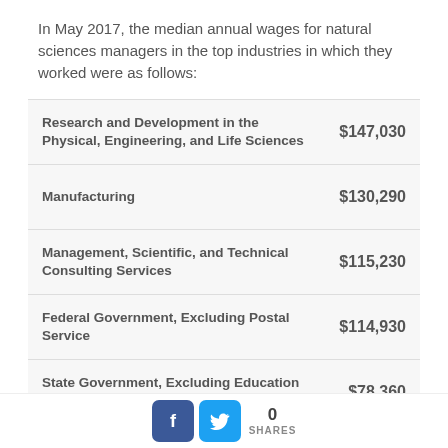In May 2017, the median annual wages for natural sciences managers in the top industries in which they worked were as follows:
| Industry | Wage |
| --- | --- |
| Research and Development in the Physical, Engineering, and Life Sciences | $147,030 |
| Manufacturing | $130,290 |
| Management, Scientific, and Technical Consulting Services | $115,230 |
| Federal Government, Excluding Postal Service | $114,930 |
| State Government, Excluding Education and Hospitals | $78,360 |
Almost all natural sciences managers work full time. About
[Figure (infographic): Social share bar with Facebook and Twitter icons and a share count showing 0 SHARES]